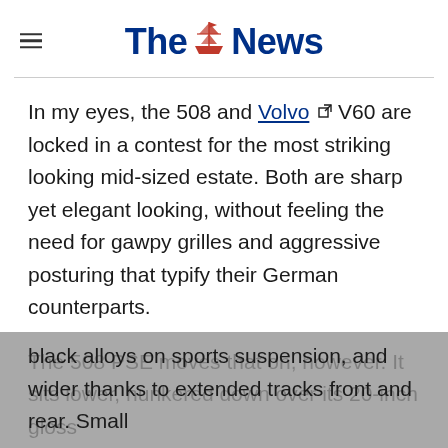The News
In my eyes, the 508 and Volvo V60 are locked in a contest for the most striking looking mid-sized estate. Both are sharp yet elegant looking, without feeling the need for gawpy grilles and aggressive posturing that typify their German counterparts.
The 508 PSE moves that on, however. It sits lower, hunkered down over its 20-inch gloss black alloys on sports suspension, and wider thanks to extended tracks front and rear. Small